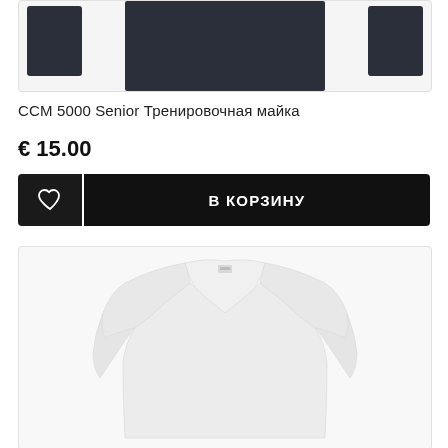[Figure (photo): Dark navy/black hockey practice jersey product photo, cropped, showing three views or angles of the jersey against light gray background]
CCM 5000 Senior Тренировочная майка
€ 15.00
[Figure (other): E-commerce buttons: heart/wishlist icon button on left (dark background) and 'В КОРЗИНУ' (Add to Cart) button on right (black background with white text)]
[Figure (photo): White hockey practice jersey product photo showing upper body/torso, long sleeves, V-neck collar with white fabric on light gray background]